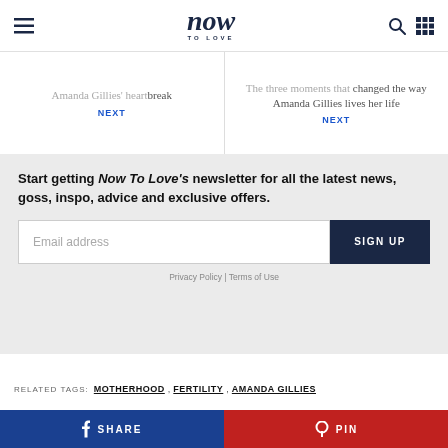Now To Love
Amanda Gillies' heartbreak NEXT
The three moments that changed the way Amanda Gillies lives her life NEXT
Start getting Now To Love's newsletter for all the latest news, goss, inspo, advice and exclusive offers.
Email address
SIGN UP
Privacy Policy | Terms of Use
RELATED TAGS: MOTHERHOOD, FERTILITY, AMANDA GILLIES
SHARE
PIN